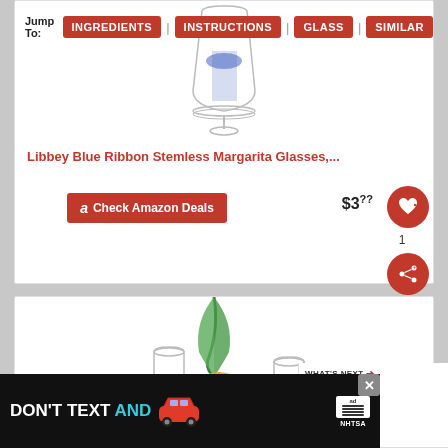Jump To: INGREDIENTS | INSTRUCTIONS | GLASS | SIMILAR
[Figure (photo): Stemless margarita glass with blue ribbon design, product photo on white background]
Libbey Blue Ribbon Stemless Margarita Glasses,...
$3...
Check Amazon Deals
1
[Figure (photo): Product photo showing clear glass tumblers with orange slice and green herb garnish]
WHAT'S NEXT → Wild Squirrel Box
[Figure (photo): Advertisement banner: DON'T TEXT AND [car icon] with ad badge and NHTSA logo]